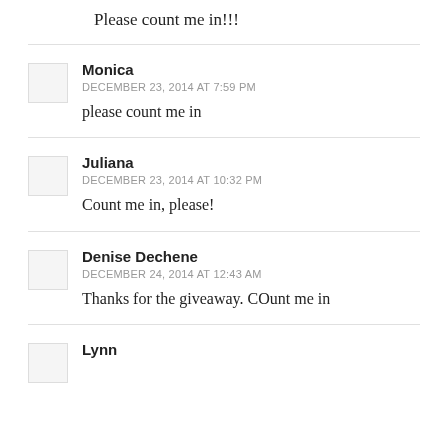Please count me in!!!
Monica
DECEMBER 23, 2014 AT 7:59 PM
please count me in
Juliana
DECEMBER 23, 2014 AT 10:32 PM
Count me in, please!
Denise Dechene
DECEMBER 24, 2014 AT 12:43 AM
Thanks for the giveaway. COunt me in
Lynn